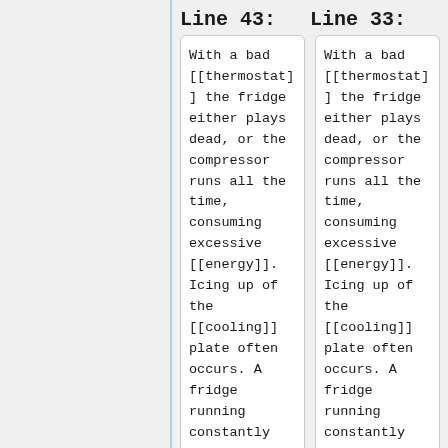Line 43:
Line 33:
With a bad [[thermostat]] the fridge either plays dead, or the compressor runs all the time, consuming excessive [[energy]]. Icing up of the [[cooling]] plate often occurs. A fridge running constantly
With a bad [[thermostat]] the fridge either plays dead, or the compressor runs all the time, consuming excessive [[energy]]. Icing up of the [[cooling]] plate often occurs. A fridge running constantly